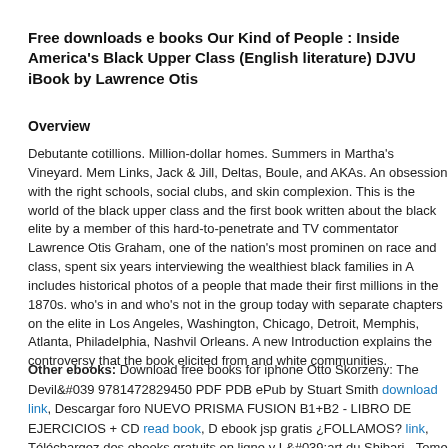Free downloads e books Our Kind of People : Inside America's Black Upper Class (English literature) DJVU iBook by Lawrence Otis Graham
Overview
Debutante cotillions. Million-dollar homes. Summers in Martha's Vineyard. Members of the Links, Jack & Jill, Deltas, Boule, and AKAs. An obsession with the right schools, social clubs, and skin complexion. This is the world of the black upper class and the first book written about the black elite by a member of this hard-to-penetrate and TV commentator Lawrence Otis Graham, one of the nation's most prominent on race and class, spent six years interviewing the wealthiest black families in A includes historical photos of a people that made their first millions in the 1870s. who's in and who's not in the group today with separate chapters on the elite in Los Angeles, Washington, Chicago, Detroit, Memphis, Atlanta, Philadelphia, Nashville, New Orleans. A new Introduction explains the controversy that the book elicited from and white communities.
Other ebooks: Download free books for iphone Otto Skorzeny: The Devil's Disciple 9781472829450 PDF PDB ePub by Stuart Smith download link, Descargar foro NUEVO PRISMA FUSION B1+B2 - LIBRO DE EJERCICIOS + CD read book, D ebook jsp gratis ¿FOLLAMOS? link, Téléchargez des ebooks gratuits en ligne L'art du Shibari - Tome 2, Approfondir les bases 9782377805396 en franc